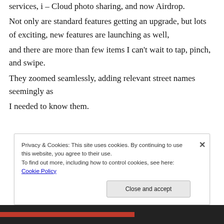Social Media, Bluetooth, e-mail, MMS, cloud services, i – Cloud photo sharing, and now Airdrop.
Not only are standard features getting an upgrade, but lots of exciting, new features are launching as well,
and there are more than few items I can't wait to tap, pinch, and swipe.
They zoomed seamlessly, adding relevant street names seemingly as
I needed to know them.
Privacy & Cookies: This site uses cookies. By continuing to use this website, you agree to their use. To find out more, including how to control cookies, see here: Cookie Policy